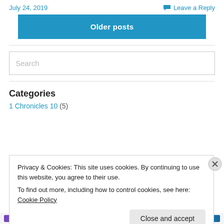July 24, 2019
Leave a Reply
Older posts
Search
Categories
1 Chronicles 10 (5)
Privacy & Cookies: This site uses cookies. By continuing to use this website, you agree to their use.
To find out more, including how to control cookies, see here: Cookie Policy
Close and accept